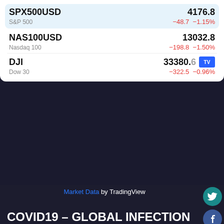| Symbol | Name | Price | Change | ChangePct |
| --- | --- | --- | --- | --- |
| SPX500USD | S&P 500 | 4176.8 | −48.7 | −1.15% |
| NAS100USD | Nasdaq 100 | 13032.8 | −198.8 | −1.50% |
| DJI | Dow 30 | 33380.6 | −322.5 | −0.96% |
Market Data by TradingView
COVID19 – GLOBAL INFECTION RANKING
Public health ratings app and widgets
[Figure (screenshot): Social share buttons: Facebook, Twitter, LinkedIn, YouTube, Instagram]
Copyright © All rights reserved. | All content is copyrighted 2020 by 247 City News. This material should not be published, broadcast, rewritten, redistributed or derived from. Unless with prior consent, Technical feedback? webmaster@247CityNews.com.pk.